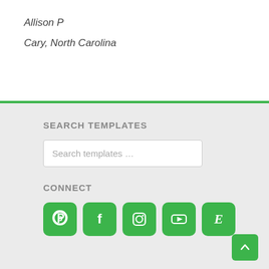Allison P
Cary, North Carolina
SEARCH TEMPLATES
Search templates …
CONNECT
[Figure (other): Social media icon buttons: Pinterest, Facebook, Instagram, YouTube, Etsy — all green rounded square buttons]
[Figure (other): Back to top button — green rounded square with upward chevron arrow]